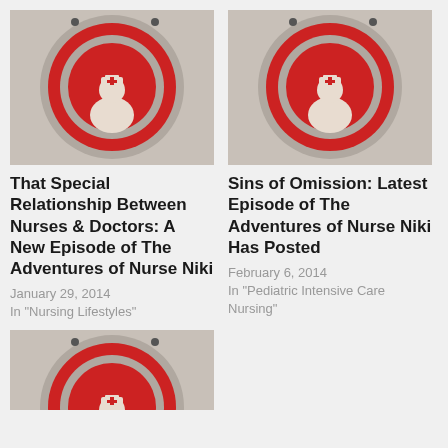[Figure (photo): Red circular nurse icon sign on grey background]
That Special Relationship Between Nurses & Doctors: A New Episode of The Adventures of Nurse Niki
January 29, 2014
In "Nursing Lifestyles"
[Figure (photo): Red circular nurse icon sign on grey background]
Sins of Omission: Latest Episode of The Adventures of Nurse Niki Has Posted
February 6, 2014
In "Pediatric Intensive Care Nursing"
[Figure (photo): Red circular nurse icon sign on grey background (partially visible)]